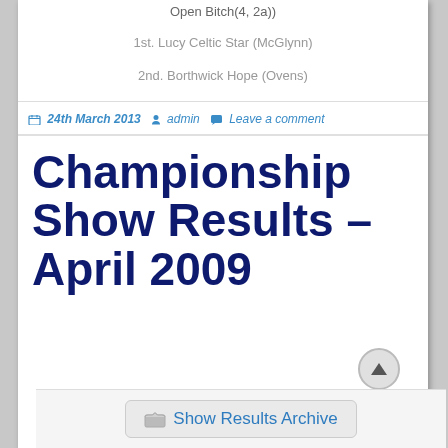Open Bitch(4, 2a))
1st. Lucy Celtic Star (McGlynn)
2nd. Borthwick Hope (Ovens)
24th March 2013  admin  Leave a comment
Championship Show Results – April 2009
Show Results Archive